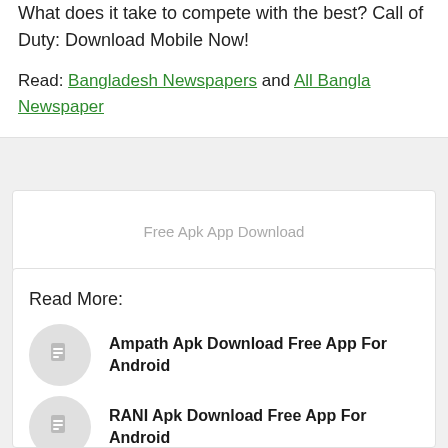What does it take to compete with the best? Call of Duty: Download Mobile Now!
Read: Bangladesh Newspapers and All Bangla Newspaper
Free Apk App Download
Read More:
Ampath Apk Download Free App For Android
RANI Apk Download Free App For Android